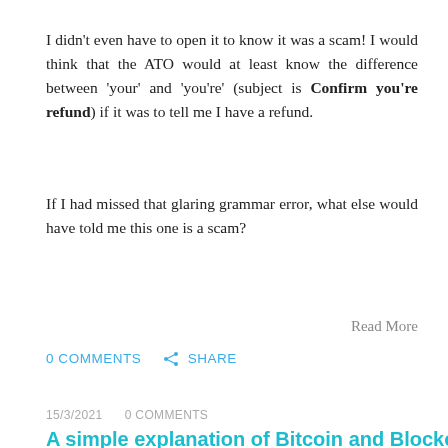I didn't even have to open it to know it was a scam! I would think that the ATO would at least know the difference between 'your' and 'you're' (subject is Confirm you're refund) if it was to tell me I have a refund.
If I had missed that glaring grammar error, what else would have told me this one is a scam?
Read More
0 COMMENTS    SHARE
15/3/2021    0 COMMENTS
A simple explanation of Bitcoin and Blockchain
[Figure (photo): Photo of a laptop or device with golden/amber background lighting related to Bitcoin/blockchain article]